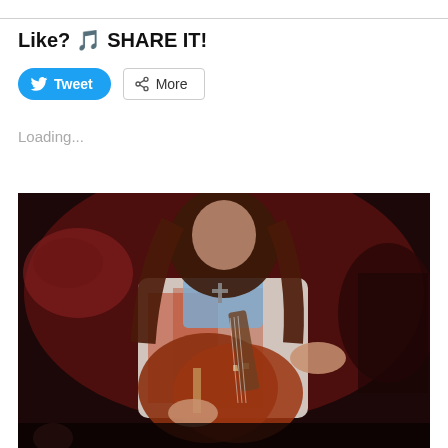Like? 🎵 SHARE IT!
[Figure (other): Tweet button (blue rounded) and More button (outlined) for social sharing]
Loading...
[Figure (photo): Vintage photo of a rock guitarist with long hair playing a Gibson Les Paul guitar on stage, wearing a white shirt with colorful patterns and a cross necklace]